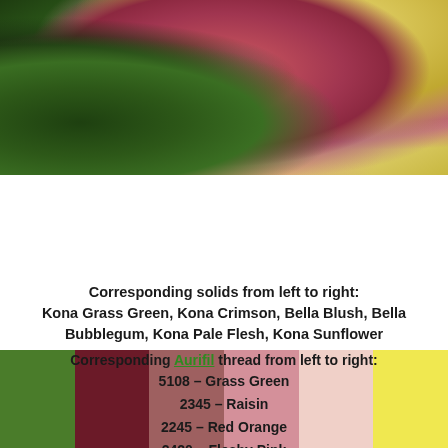[Figure (photo): Close-up photo of a pink/red tulip flower with green leaves in the background and yellow center, blurred background]
[Figure (infographic): Six color swatches from left to right: Grass Green, Crimson/dark red, mauve/brownish rose, pink, pale flesh/peach, yellow]
Corresponding solids from left to right:
Kona Grass Green, Kona Crimson, Bella Blush, Bella Bubblegum, Kona Pale Flesh, Kona Sunflower
Corresponding Aurifil thread from left to right:
5108 – Grass Green
2345 – Raisin
2245 – Red Orange
2420 – Fleshy Pink
2205 – Flesh
2125 – Wheat